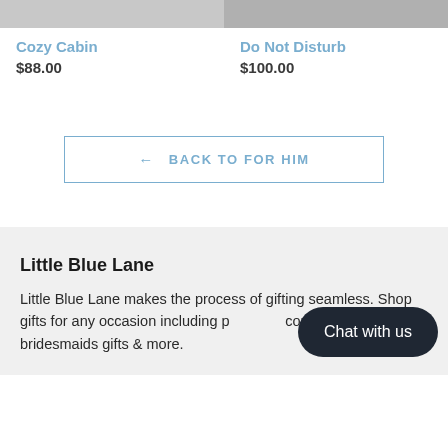[Figure (photo): Top portion of two product images cropped at top of page — left image gray, right image lighter gray]
Cozy Cabin
$88.00
Do Not Disturb
$100.00
← BACK TO FOR HIM
Little Blue Lane
Little Blue Lane makes the process of gifting seamless. Shop gifts for any occasion including personal, corporate, bridesmaids gifts & more.
Chat with us